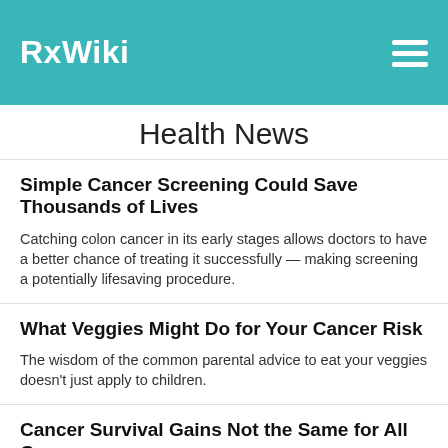RxWiki
Health News
Simple Cancer Screening Could Save Thousands of Lives
Catching colon cancer in its early stages allows doctors to have a better chance of treating it successfully — making screening a potentially lifesaving procedure.
What Veggies Might Do for Your Cancer Risk
The wisdom of the common parental advice to eat your veggies doesn't just apply to children.
Cancer Survival Gains Not the Same for All Groups
Cancer patients are winning the battle against the disease